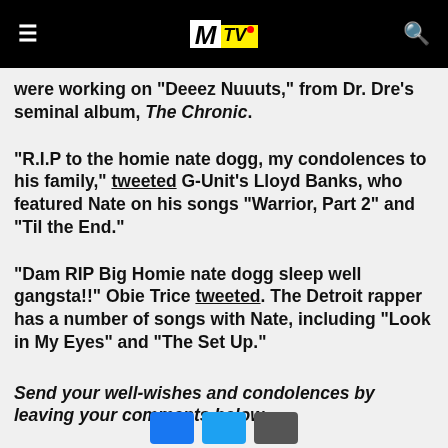MTV
were working on "Deeez Nuuuts," from Dr. Dre's seminal album, The Chronic.
"R.I.P to the homie nate dogg, my condolences to his family," tweeted G-Unit's Lloyd Banks, who featured Nate on his songs "Warrior, Part 2" and "Til the End."
"Dam RIP Big Homie nate dogg sleep well gangsta!!" Obie Trice tweeted. The Detroit rapper has a number of songs with Nate, including "Look in My Eyes" and "The Set Up."
Send your well-wishes and condolences by leaving your comments below.